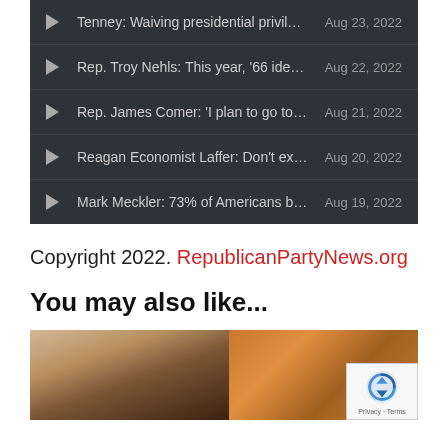Tenney: Waiving presidential privilege ope... Aug 23, 2022
Rep. Troy Nehls: This year, '66 identified t... Aug 22, 2022
Rep. James Comer: 'I plan to go to war wi... Aug 21, 2022
Reagan Economist Laffer: Don't expect inf... Aug 20, 2022
Mark Meckler: 73% of Americans believe ... Aug 19, 2022
Copyright 2022. RepublicanPartyNews.org
You may also like...
[Figure (photo): Two thumbnail images side by side: a woman with blonde hair and a food image showing what appears to be a breaded/fried dish. A reCAPTCHA badge is visible in the bottom right corner.]